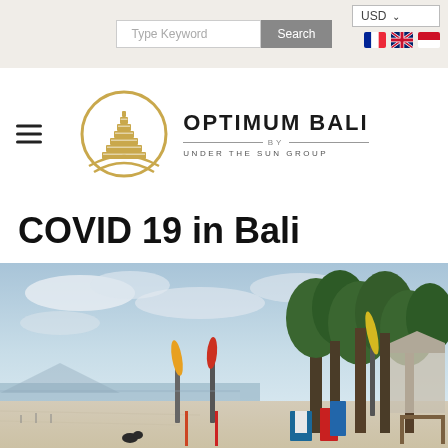Type Keyword | Search | USD | Language flags
[Figure (logo): Optimum Bali by Under The Sun Group logo with circular gold Balinese temple icon]
COVID 19 in Bali
[Figure (photo): Empty Bali beach with closed beach umbrellas, trees, overcast sky, during COVID-19 pandemic]